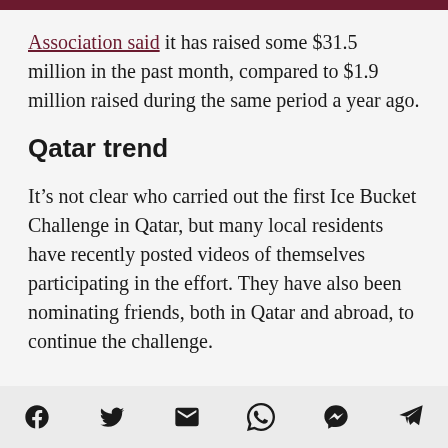Association said it has raised some $31.5 million in the past month, compared to $1.9 million raised during the same period a year ago.
Qatar trend
It’s not clear who carried out the first Ice Bucket Challenge in Qatar, but many local residents have recently posted videos of themselves participating in the effort. They have also been nominating friends, both in Qatar and abroad, to continue the challenge.
[Figure (other): Social sharing icons: Facebook, Twitter, Email, WhatsApp, Messenger, Telegram]